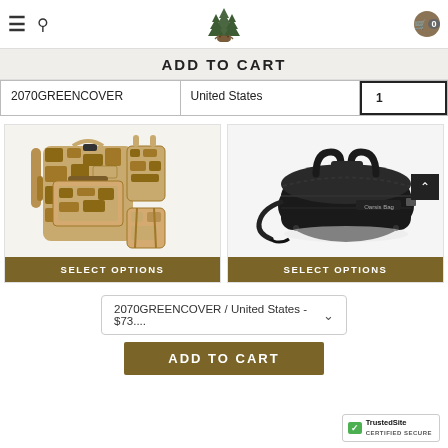ADD TO CART — site header with logo, hamburger, search, and cart (0)
ADD TO CART
| SKU | Region | Qty |
| --- | --- | --- |
| 2070GREENCOVER | United States | 1 |
[Figure (photo): Camouflage tactical backpack shown from multiple angles (front, side, back) in desert camo pattern]
SELECT OPTIONS
[Figure (photo): Black duffel/gym bag with handles and shoulder strap]
SELECT OPTIONS
2070GREENCOVER / United States - $73.... ∨
ADD TO CART
TrustedSite CERTIFIED SECURE